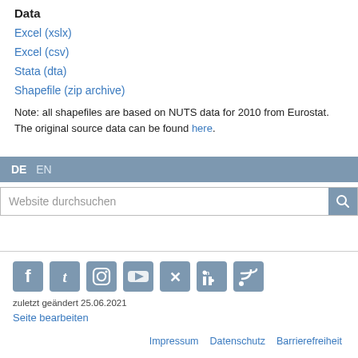Data
Excel (xslx)
Excel (csv)
Stata (dta)
Shapefile (zip archive)
Note: all shapefiles are based on NUTS data for 2010 from Eurostat. The original source data can be found here.
DE  EN
Website durchsuchen
[Figure (other): Social media icons: Facebook, Twitter, Instagram, YouTube, Xing, LinkedIn, RSS]
zuletzt geändert 25.06.2021
Seite bearbeiten
Impressum  Datenschutz  Barrierefreiheit